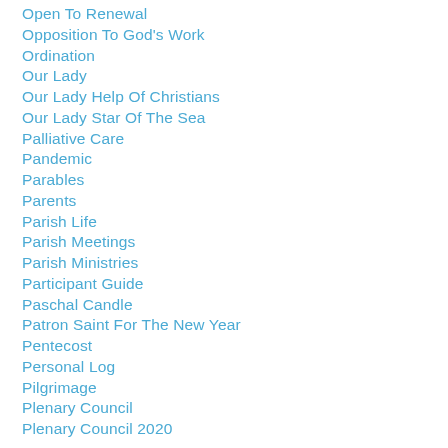Open To Renewal
Opposition To God's Work
Ordination
Our Lady
Our Lady Help Of Christians
Our Lady Star Of The Sea
Palliative Care
Pandemic
Parables
Parents
Parish Life
Parish Meetings
Parish Ministries
Participant Guide
Paschal Candle
Patron Saint For The New Year
Pentecost
Personal Log
Pilgrimage
Plenary Council
Plenary Council 2020